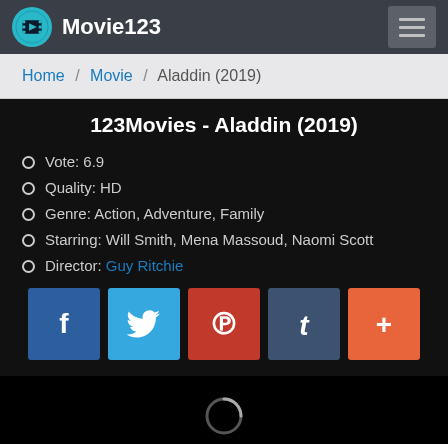Movie123
Home / Movie / Aladdin (2019)
123Movies - Aladdin (2019)
Vote: 6.9
Quality: HD
Genre: Action, Adventure, Family
Starring: Will Smith, Mena Massoud, Naomi Scott
Director: Guy Ritchie
[Figure (other): Social share buttons: Facebook, Twitter, Pinterest, Tumblr, More (+)]